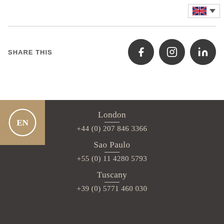[Figure (logo): UK flag with dropdown arrow — language selector button]
SHARE THIS
[Figure (illustration): Social media icons: Facebook, Instagram, LinkedIn — dark circular buttons]
[Figure (logo): EN circular logo in gold/tan box at footer top-left]
London
+44 (0) 207 846 3366
Sao Paulo
+55 (0) 11 4280 5793
Tuscany
+39 (0) 5771 460 030